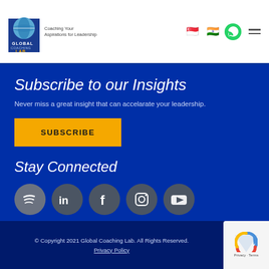Global Coaching Lab — Coaching Your Aspirations for Leadership
Subscribe to our Insights
Never miss a great insight that can accelarate your leadership.
SUBSCRIBE
Stay Connected
[Figure (illustration): Social media icons row: Spotify, LinkedIn, Facebook, Instagram, YouTube]
© Copyright 2021 Global Coaching Lab. All Rights Reserved.
Privacy Policy